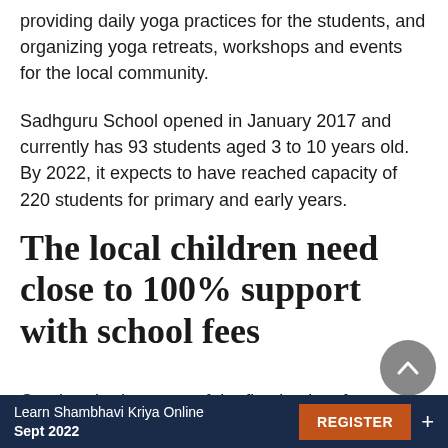providing daily yoga practices for the students, and organizing yoga retreats, workshops and events for the local community.
Sadhguru School opened in January 2017 and currently has 93 students aged 3 to 10 years old. By 2022, it expects to have reached capacity of 220 students for primary and early years.
The local children need close to 100% support with school fees
One hundred percent of the first intake of
Learn Shambhavi Kriya Online Sept 2022  REGISTER